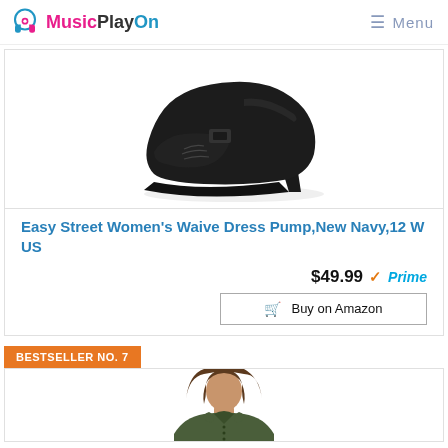MusicPlayOn — Menu
[Figure (photo): Black women's low-heel dress pump shoe (Easy Street Waive) on white background]
Easy Street Women's Waive Dress Pump,New Navy,12 W US
$49.99 ✓Prime
Buy on Amazon
BESTSELLER NO. 7
[Figure (photo): Woman wearing an olive/dark green long-sleeve collared shirt, cropped view]